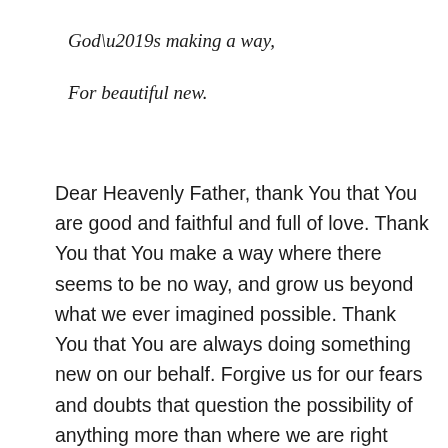God’s making a way,
For beautiful new.
Dear Heavenly Father, thank You that You are good and faithful and full of love. Thank You that You make a way where there seems to be no way, and grow us beyond what we ever imagined possible. Thank You that You are always doing something new on our behalf. Forgive us for our fears and doubts that question the possibility of anything more than where we are right now. Teach us to trust You more, so that we would view life through Your